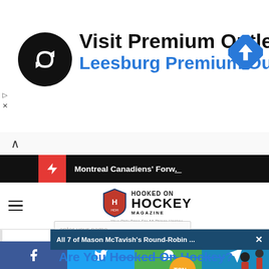[Figure (screenshot): Advertisement banner for Premium Outlets (Visit Premium Outlets® / Leesburg Premium Outlets) with circular black logo with infinity-like arrows symbol, blue navigation arrow diamond icon on right, and small play/close controls on left]
[Figure (screenshot): Collapsible navigation bar with up caret]
[Figure (screenshot): Dark news ticker bar with red lightning badge and text 'Montreal Canadiens' Forw._']
[Figure (screenshot): Hooked On Hockey Magazine site header with hamburger menu and logo]
[Figure (screenshot): TSN notification bar: 'All 7 of Mason McTavish's Round-Robin ...' with close X]
Are You Hooked On Hockey?
Join thousands of fans just like yourself who for all things hockey by email
enter your name
[Figure (screenshot): Hockey player silhouette scene in background]
[Figure (screenshot): Bottom social share bar with Facebook, Twitter, WhatsApp, Telegram buttons]